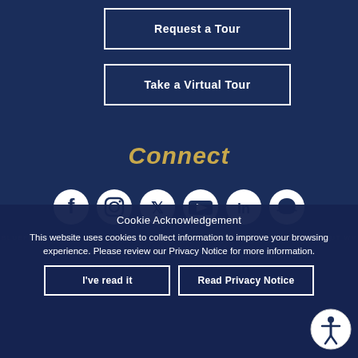Request a Tour
Take a Virtual Tour
Connect
[Figure (infographic): Row of social media icons: Facebook, Instagram, Twitter, YouTube, LinkedIn, Snapchat]
Cookie Acknowledgement
This website uses cookies to collect information to improve your browsing experience. Please review our Privacy Notice for more information.
BLUEFIELD STATE UNIVERSITY, WV 24701 304 327 4000 TOLL FREE THROUGHOUT WV 1-800-654-7998 FAX: 304-325-7747 COPYRIGHT © 2022 BLUEFIELD STATE UNIVERSITY ALL RIGHTS RESERVED. ACCREDITATION INFO.
I've read it
Read Privacy Notice